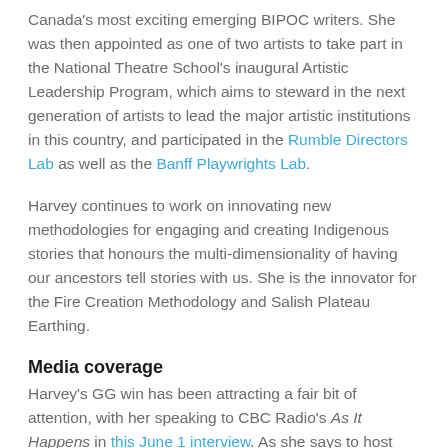Canada's most exciting emerging BIPOC writers. She was then appointed as one of two artists to take part in the National Theatre School's inaugural Artistic Leadership Program, which aims to steward in the next generation of artists to lead the major artistic institutions in this country, and participated in the Rumble Directors Lab as well as the Banff Playwrights Lab.
Harvey continues to work on innovating new methodologies for engaging and creating Indigenous stories that honours the multi-dimensionality of having our ancestors tell stories with us. She is the innovator for the Fire Creation Methodology and Salish Plateau Earthing.
Media coverage
Harvey's GG win has been attracting a fair bit of attention, with her speaking to CBC Radio's As It Happens in this June 1 interview. As she says to host